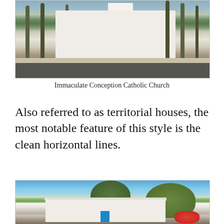[Figure (photo): Photograph of Immaculate Conception Catholic Church exterior with palm trees lining the street in front of a white building]
Immaculate Conception Catholic Church
Also referred to as territorial houses, the most notable feature of this style is the clean horizontal lines.
[Figure (photo): Photograph of a white territorial-style house with clean horizontal lines, a blue door, trees in background, and red flowering bushes on right side]